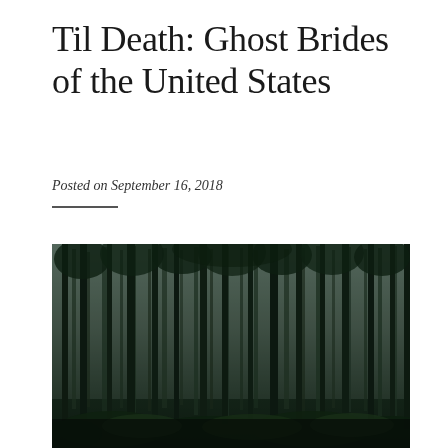Til Death: Ghost Brides of the United States
Posted on September 16, 2018
[Figure (photo): Dark moody photograph of a dense forest with tall thin trees, dark green foliage, overcast sky visible through canopy, ground covered with ferns and undergrowth. Very desaturated, dark atmospheric tones.]